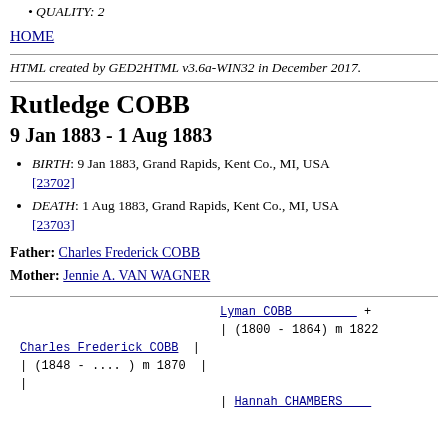QUALITY: 2
HOME
HTML created by GED2HTML v3.6a-WIN32 in December 2017.
Rutledge COBB
9 Jan 1883 - 1 Aug 1883
BIRTH: 9 Jan 1883, Grand Rapids, Kent Co., MI, USA [23702]
DEATH: 1 Aug 1883, Grand Rapids, Kent Co., MI, USA [23703]
Father: Charles Frederick COBB
Mother: Jennie A. VAN WAGNER
Lyman COBB + | (1800 - 1864) m 1822
Charles Frederick COBB |
| (1848 - ....) m 1870 |
|
| Hannah CHAMBERS